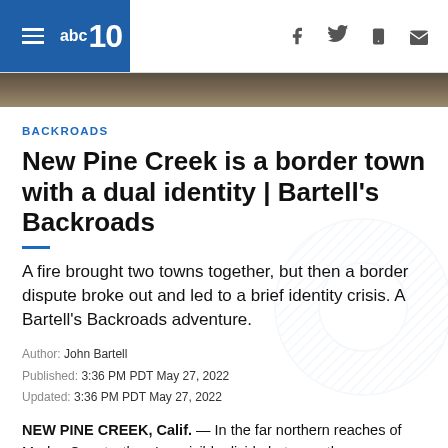abc10
[Figure (photo): Dark outdoor photo strip at the top of the page below the navigation bar]
BACKROADS
New Pine Creek is a border town with a dual identity | Bartell's Backroads
A fire brought two towns together, but then a border dispute broke out and led to a brief identity crisis. A Bartell's Backroads adventure.
Author: John Bartell
Published: 3:36 PM PDT May 27, 2022
Updated: 3:36 PM PDT May 27, 2022
NEW PINE CREEK, Calif. — In the far northern reaches of Modoc County, there's a visible divide between the